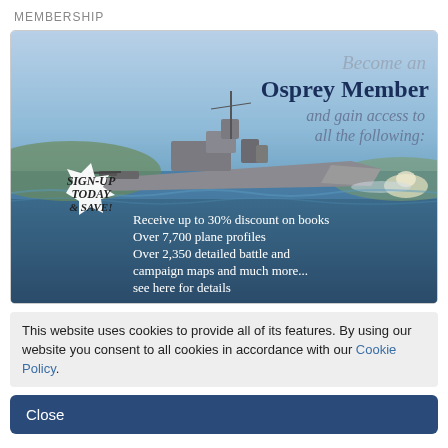MEMBERSHIP
[Figure (illustration): Osprey membership advertisement banner showing a WWII naval destroyer at sea with text 'Become an Osprey Member and gain access to all the following:' in the upper right, a starburst badge reading 'SIGN-UP TODAY & SAVE!' on the lower left, and bullet points listing member benefits including 30% discount on books, over 7,700 plane profiles, over 2,350 detailed battle and campaign maps and much more... see here for details]
This website uses cookies to provide all of its features. By using our website you consent to all cookies in accordance with our Cookie Policy.
Close